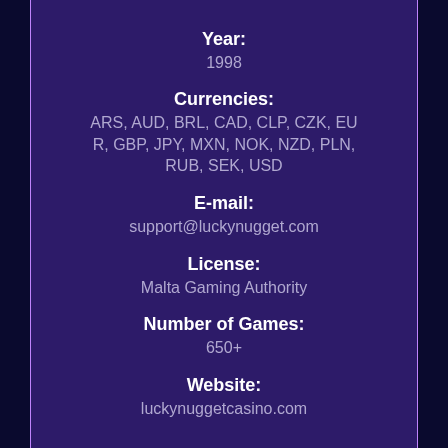Year: 1998
Currencies: ARS, AUD, BRL, CAD, CLP, CZK, EUR, GBP, JPY, MXN, NOK, NZD, PLN, RUB, SEK, USD
E-mail: support@luckynugget.com
License: Malta Gaming Authority
Number of Games: 650+
Website: luckynuggetcasino.com